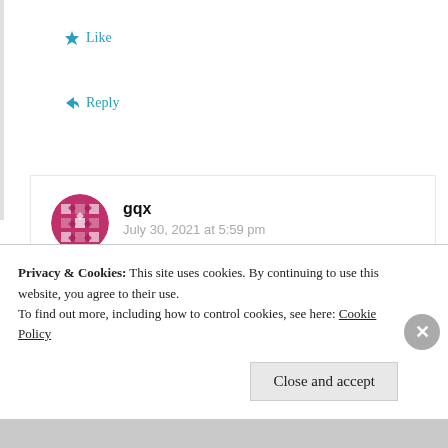★ Like
↪ Reply
gqx
July 30, 2021 at 5:59 pm
She looked still nice in her mid 60s 🙂
★ Like
Privacy & Cookies: This site uses cookies. By continuing to use this website, you agree to their use.
To find out more, including how to control cookies, see here: Cookie Policy
Close and accept